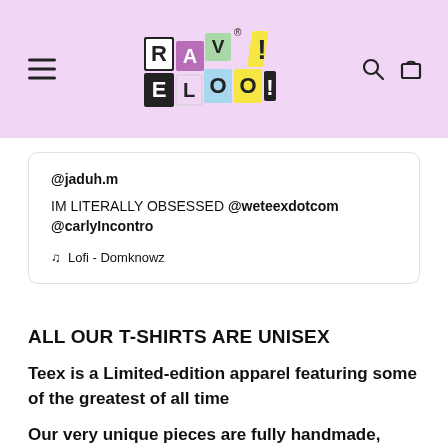[Figure (logo): RAVEOO! colorful block letter logo with registered trademark symbol on pink background, with hamburger menu icon on left and search/cart icons on right]
@jaduh.m
IM LITERALLY OBSESSED @weteexdotcom @carlyIncontro
♫ Lofi - Domknowz
ALL OUR T-SHIRTS ARE UNISEX
Teex is a Limited-edition apparel featuring some of the greatest of all time
Our very unique pieces are fully handmade, carefully packed, delivered with love.
You've now found the staple t-shirt of your